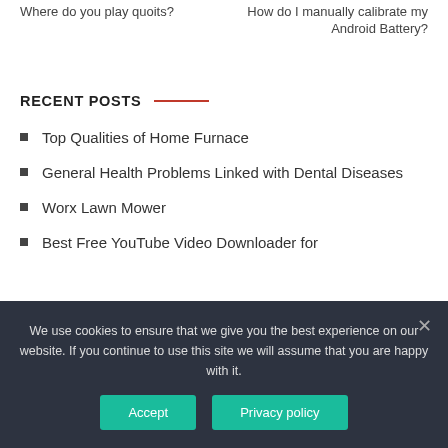Where do you play quoits?
How do I manually calibrate my Android Battery?
RECENT POSTS
Top Qualities of Home Furnace
General Health Problems Linked with Dental Diseases
Worx Lawn Mower
Best Free YouTube Video Downloader for
We use cookies to ensure that we give you the best experience on our website. If you continue to use this site we will assume that you are happy with it.
Accept
Privacy policy